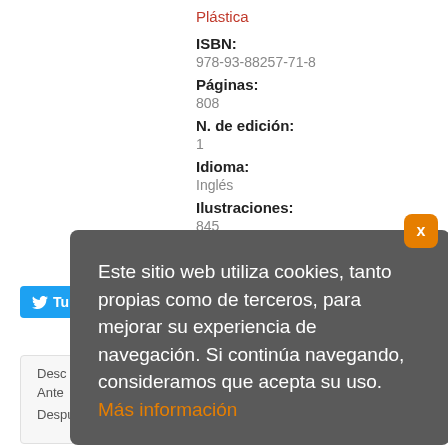Plástica
ISBN:
978-93-88257-71-8
Páginas:
808
N. de edición:
1
Idioma:
Inglés
Ilustraciones:
845
Disponibilidad:
0 días
Este sitio web utiliza cookies, tanto propias como de terceros, para mejorar su experiencia de navegación. Si continúa navegando, consideramos que acepta su uso. Más información
Desc
Antes: 176,80 €
Despues: 167,96 €
-5%